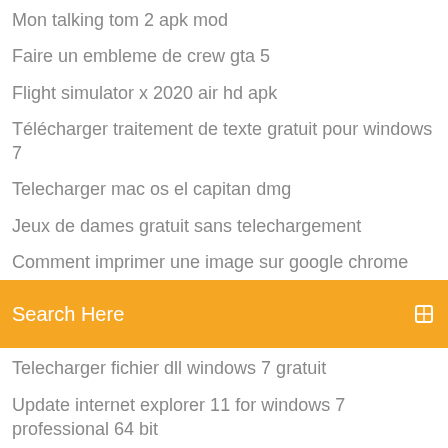Mon talking tom 2 apk mod
Faire un embleme de crew gta 5
Flight simulator x 2020 air hd apk
Télécharger traitement de texte gratuit pour windows 7
Telecharger mac os el capitan dmg
Jeux de dames gratuit sans telechargement
Comment imprimer une image sur google chrome
Search Here
Telecharger fichier dll windows 7 gratuit
Update internet explorer 11 for windows 7 professional 64 bit
Hacker mot de passe wifi iphone
Adobe acrobat 5.0 telecharger gratuit
Gta v codes xbox 360 money
Telecharger picasa 3 pour windows 10
Logiciel de musique dj gratuit
Gt racing 2 the real car experience ios
Windows media player 12 64 bit win 7